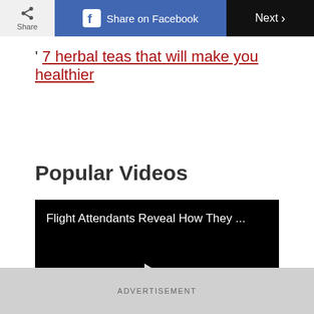Share | Share on Facebook | Next
' 7 herbal teas that will make you healthier
Popular Videos
[Figure (screenshot): Video thumbnail with black background showing title 'Flight Attendants Reveal How They ...' and a white play button triangle in the center]
ADVERTISEMENT